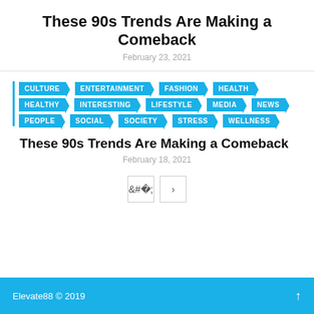These 90s Trends Are Making a Comeback
February 23, 2021
CULTURE
ENTERTAINMENT
FASHION
HEALTH
HEALTHY
INTERESTING
LIFESTYLE
MEDIA
NEWS
PEOPLE
SOCIAL
SOCIETY
STRESS
WELLNESS
These 90s Trends Are Making a Comeback
February 18, 2021
Elevate88 © 2019